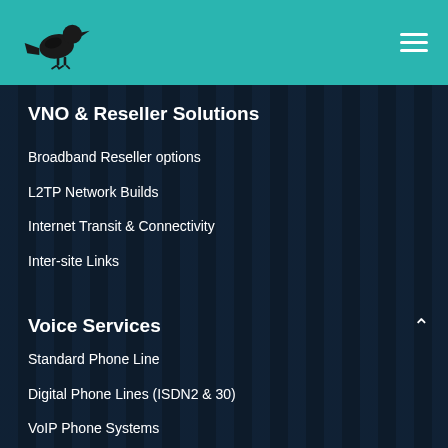[Figure (logo): Black bird silhouette logo on teal header background]
VNO & Reseller Solutions
Broadband Reseller options
L2TP Network Builds
Internet Transit & Connectivity
Inter-site Links
Voice Services
Standard Phone Line
Digital Phone Lines (ISDN2 & 30)
VoIP Phone Systems
Legal & Privacy